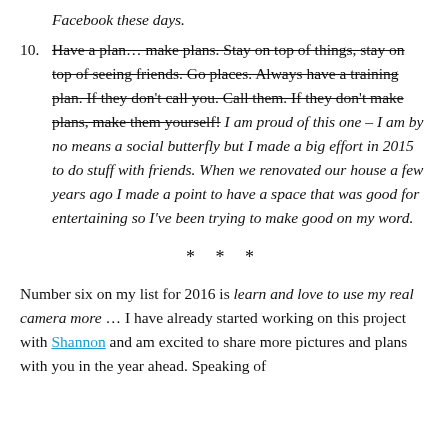Facebook these days.
10. Have a plan… make plans. Stay on top of things, stay on top of seeing friends. Go places. Always have a training plan. If they don't call you. Call them. If they don't make plans, make them yourself! I am proud of this one – I am by no means a social butterfly but I made a big effort in 2015 to do stuff with friends. When we renovated our house a few years ago I made a point to have a space that was good for entertaining so I've been trying to make good on my word.
* * *
Number six on my list for 2016 is learn and love to use my real camera more … I have already started working on this project with Shannon and am excited to share more pictures and plans with you in the year ahead. Speaking of